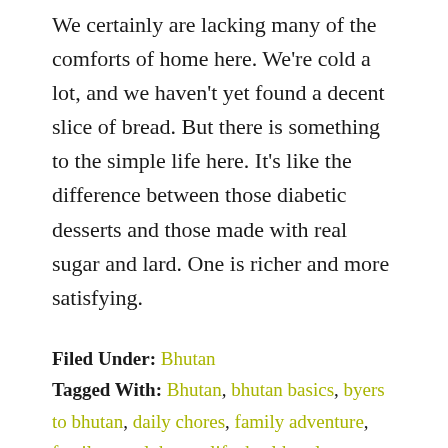We certainly are lacking many of the comforts of home here. We're cold a lot, and we haven't yet found a decent slice of bread. But there is something to the simple life here. It's like the difference between those diabetic desserts and those made with real sugar and lard. One is richer and more satisfying.
Filed Under: Bhutan
Tagged With: Bhutan, bhutan basics, byers to bhutan, daily chores, family adventure, family travel, happy life, health volunteers overseas, himalayan adventure, Home away from home, homeschool, living in Bhutan, Medical Mission, overseas volunteers, Travel Bhutan, travel